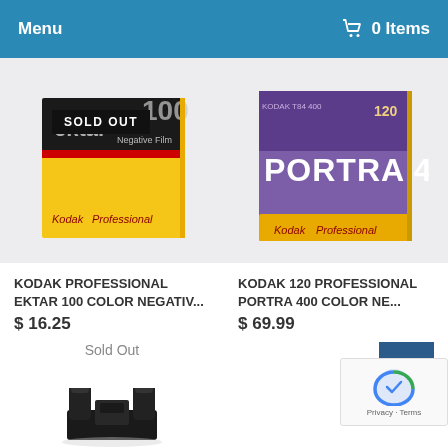Menu   0 Items
[Figure (photo): Kodak Professional Ektar 100 Color Negative Film box with SOLD OUT badge overlay]
KODAK PROFESSIONAL EKTAR 100 COLOR NEGATIV...
$ 16.25
Sold Out
[Figure (photo): Kodak 120 Professional Portra 400 Color Negative Film box]
KODAK 120 PROFESSIONAL PORTRA 400 COLOR NE...
$ 69.99
[Figure (photo): Black plastic clip/clamp hardware product]
[Figure (other): reCAPTCHA widget with Privacy and Terms text]